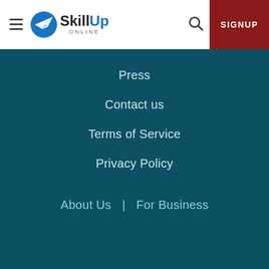[Figure (logo): SkillUp Online logo with paper airplane icon, hamburger menu, search icon, and SIGNUP button]
Press
Contact us
Terms of Service
Privacy Policy
About Us  |  For Business